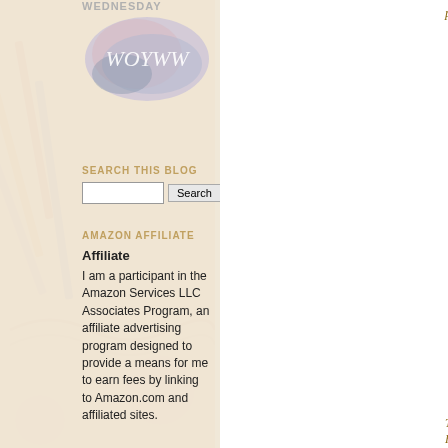WEDNESDAY
[Figure (illustration): WOYWW watercolor logo with cursive text on watercolor blob background]
SEARCH THIS BLOG
AMAZON AFFILIATE
Affiliate
I am a participant in the Amazon Services LLC Associates Program, an affiliate advertising program designed to provide a means for me to earn fees by linking to Amazon.com and affiliated sites.
posted here later today.
[Figure (photo): A folded paper/origami craft object with decorative Tim Holtz paper, photographed on white background with a green letter R partially visible]
This is pretty much a CASE of Ta... used Tim Holtz Papers) so I use...